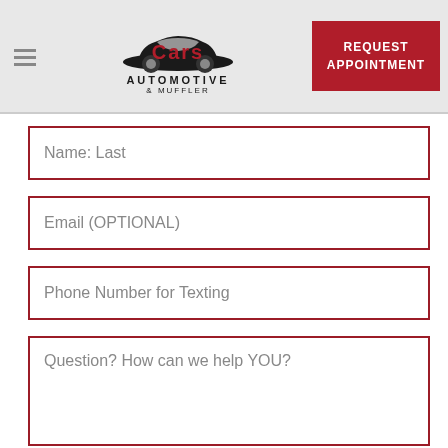Cars Automotive & Muffler — REQUEST APPOINTMENT
Name: Last
Email (OPTIONAL)
Phone Number for Texting
Question? How can we help YOU?